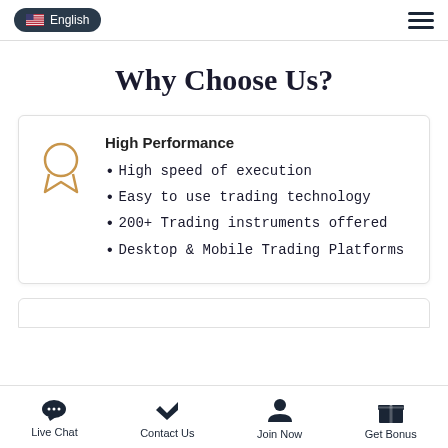English
Why Choose Us?
High Performance
High speed of execution
Easy to use trading technology
200+ Trading instruments offered
Desktop & Mobile Trading Platforms
Live Chat | Contact Us | Join Now | Get Bonus